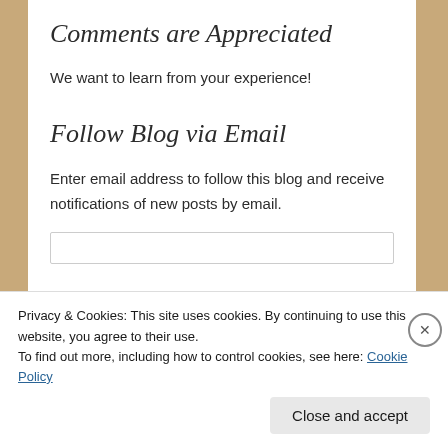Comments are Appreciated
We want to learn from your experience!
Follow Blog via Email
Enter email address to follow this blog and receive notifications of new posts by email.
Privacy & Cookies: This site uses cookies. By continuing to use this website, you agree to their use.
To find out more, including how to control cookies, see here: Cookie Policy
Close and accept